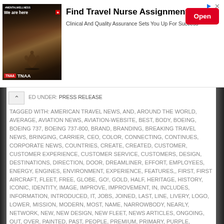[Figure (screenshot): Advertisement banner for TNAA (Travel Nurse Across America): 'Find Travel Nurse Assignments - Clinical And Quality Assurance Sets You Up For Success' with an Open button]
FILED UNDER: PRESS RELEASE
TAGGED WITH: AMERICAN TRAVEL NEWS, AND, AROUND THE WORLD, AVERAGE, AVIATION NEWS, AVIATION-WEBSITE, BEST, BODY, BOEING, BOEING 737, BOEING 737-800, BRAND, BRANDING, BREAKING TRAVEL NEWS, BRINGING, CARRIER, CEO, COLOR, CONNECTING, CONTINUES, CORPORATE NEWS, COUNTRIES, CREATE, CREATED, CUSTOMER, CUSTOMER EXPERIENCE, CUSTOMER SERVICE, CUSTOMERS, DESIGN, DESTINATIONS, DIRECTION, DOOR, DREAMLINER, EFFORT, EMPLOYEES, ENERGY, ENGINES, ENVIRONMENT, EXPERIENCE, FEATURES,, FIRST, FIRST AIRCRAFT, FLEET, FREE, GLOBE, GO!, GOLD, HALF, HERITAGE, HISTORY, ICONIC, IDENTITY, IMAGE, IMPROVE, IMPROVEMENT, IN, INCLUDES, INFORMATION, INTRODUCED, IT, JOBS, JOINED, LAST, LINE, LIVERY, LOGO, LOWER, MISSION, MODERN, MOST, NAME, NARROWBODY, NEARLY, NETWORK, NEW, NEW DESIGN, NEW FLEET, NEWS ARTICLES, ONGOING, OUT, OVER, PAINTED, PAST, PEOPLE, PREMIUM, PRIMARY, PURPLE, RECEIVE, REGIONAL